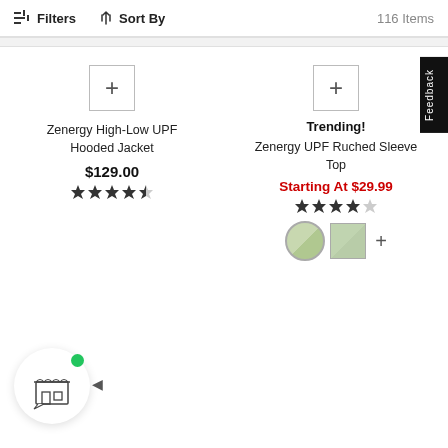Filters  Sort By  116 Items
Zenergy High-Low UPF Hooded Jacket
$129.00
Trending!
Zenergy UPF Ruched Sleeve Top
Starting At $29.99